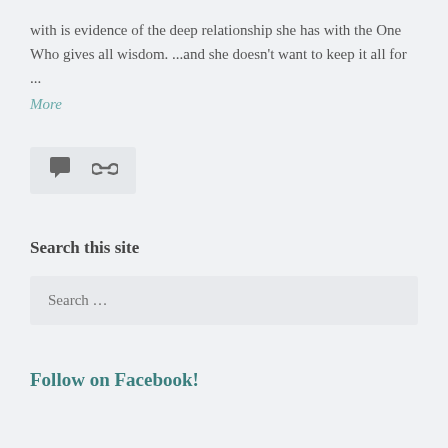with is evidence of the deep relationship she has with the One Who gives all wisdom. ...and she doesn't want to keep it all for ...
More
[Figure (other): Icon bar with a speech bubble comment icon and a chain link icon on a light grey background]
Search this site
Search ...
Follow on Facebook!